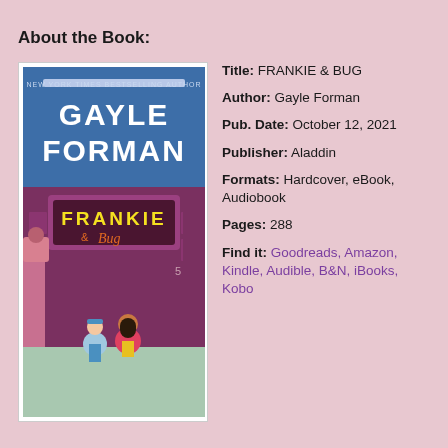About the Book:
[Figure (illustration): Book cover for FRANKIE & BUG by Gayle Forman (New York Times Bestselling Author). Illustrated cover showing two children sitting outside a motel/shop with a neon sign reading FRANKIE & Bug, set against pink and purple background.]
Title: FRANKIE & BUG
Author: Gayle Forman
Pub. Date: October 12, 2021
Publisher: Aladdin
Formats: Hardcover, eBook, Audiobook
Pages: 288
Find it: Goodreads, Amazon, Kindle, Audible, B&N, iBooks, Kobo